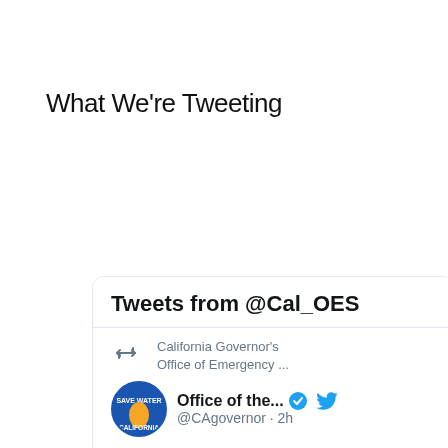What We're Tweeting
[Figure (screenshot): Embedded Twitter/X widget showing tweets from @Cal_OES. Contains a retweet of California Governor's Office of Emergency tweet. Profile shown is 'Office of the...' @CAgovernor · 2h. Tweet text: TUNE IN: Governor @GavinNewsom addresses the heat wave expected to impact California and the West starting today and lasting through Labor Day weekend until next Wednesday. Watch live at 2:00 PM]